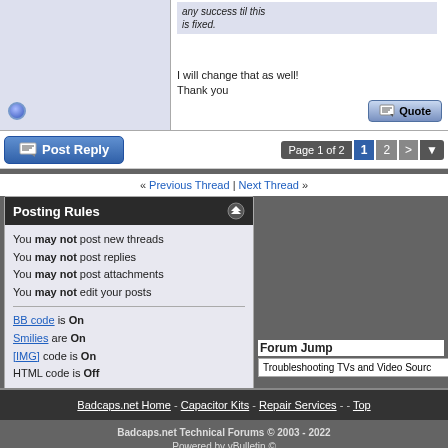any success til this is fixed. (italic/quoted)
I will change that as well! Thank you
Post Reply
Page 1 of 2  1  2  >
« Previous Thread | Next Thread »
Posting Rules
You may not post new threads
You may not post replies
You may not post attachments
You may not edit your posts
BB code is On
Smilies are On
[IMG] code is On
HTML code is Off
Forum Rules
Forum Jump
Troubleshooting TVs and Video Sourc...
Badcaps.net Home - Capacitor Kits - Repair Services - - Top
Badcaps.net Technical Forums © 2003 - 2022
Powered by vBulletin ©